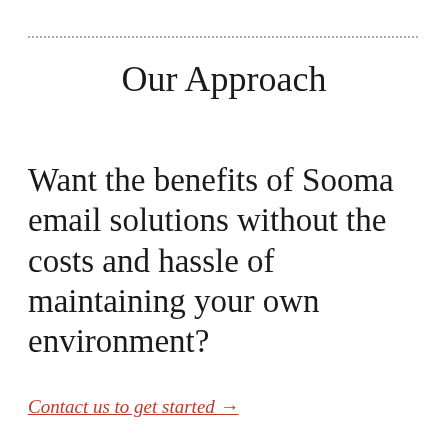Our Approach
Want the benefits of Sooma email solutions without the costs and hassle of maintaining your own environment?
Contact us to get started →